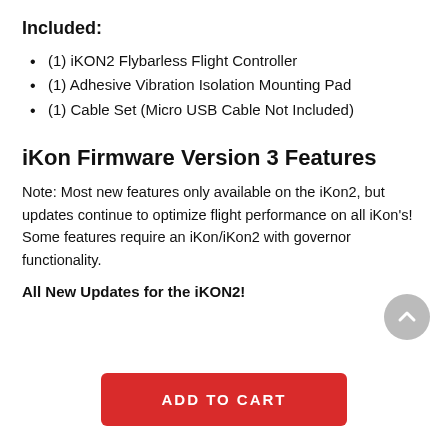Included:
(1) iKON2 Flybarless Flight Controller
(1) Adhesive Vibration Isolation Mounting Pad
(1) Cable Set (Micro USB Cable Not Included)
iKon Firmware Version 3 Features
Note: Most new features only available on the iKon2, but updates continue to optimize flight performance on all iKon's! Some features require an iKon/iKon2 with governor functionality.
All New Updates for the iKON2!